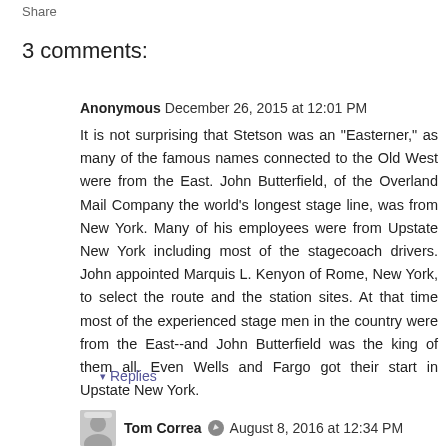Share
3 comments:
Anonymous  December 26, 2015 at 12:01 PM
It is not surprising that Stetson was an "Easterner," as many of the famous names connected to the Old West were from the East. John Butterfield, of the Overland Mail Company the world's longest stage line, was from New York. Many of his employees were from Upstate New York including most of the stagecoach drivers. John appointed Marquis L. Kenyon of Rome, New York, to select the route and the station sites. At that time most of the experienced stage men in the country were from the East--and John Butterfield was the king of them all. Even Wells and Fargo got their start in Upstate New York.
Reply
Replies
Tom Correa  August 8, 2016 at 12:34 PM